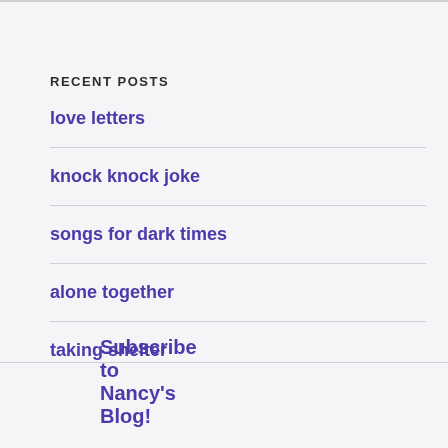RECENT POSTS
love letters
knock knock joke
songs for dark times
alone together
taking shelter
Subscribe to Nancy's Blog!